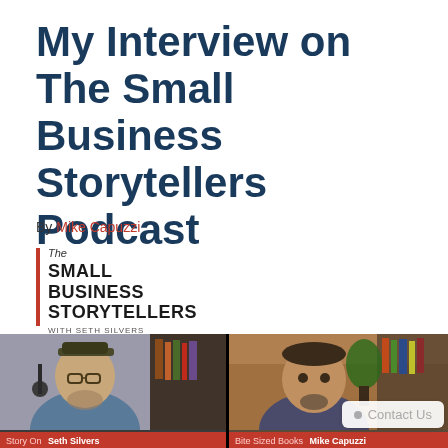My Interview on The Small Business Storytellers Podcast
By Mike Capuzzi
[Figure (logo): The Small Business Storytellers with Seth Silvers podcast logo — red vertical bar with bold stacked text]
[Figure (screenshot): Video thumbnail showing two video panels side by side: left panel shows Seth Silvers (Story On), right panel shows Mike Capuzzi (Bite Sized Books). Each panel has a red label bar at the bottom with name and category. A 'Contact Us' badge overlay appears on the right panel.]